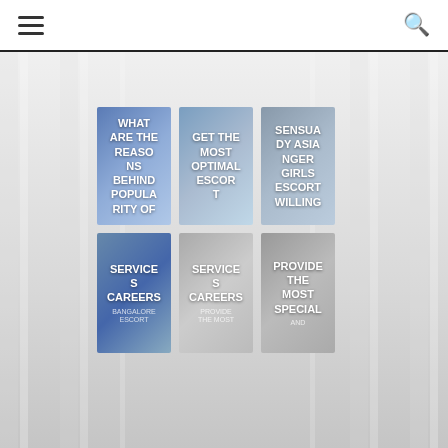Navigation bar with hamburger menu and search icon
[Figure (screenshot): Website screenshot showing a navigation bar at top with hamburger menu on left and search icon on right, and a grid of 6 article cards below on a light grey background with vertical lines. Cards show titles: 'WHAT ARE THE REASONS BEHIND POPULARITY OF', 'GET THE MOST OPTIMAL ESCORT SERVICES CAREERS', 'SENSUA DY ASIAN NGER GIRLS ESCORT WILLING TO PROVIDE THE MOST SPECIAL AND']